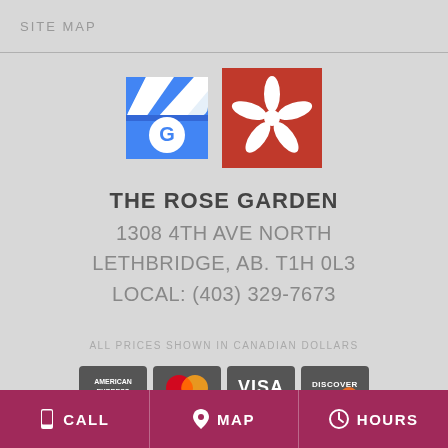SITE MAP
[Figure (logo): Google My Business logo and Yelp logo icons]
THE ROSE GARDEN
1308 4TH AVE NORTH
LETHBRIDGE, AB. T1H 0L3
LOCAL: (403) 329-7673
ALL PRICES SHOWN IN CANADIAN DOLLARS
[Figure (logo): Credit card logos: American Express, Mastercard, Visa, Discover]
CALL  MAP  HOURS